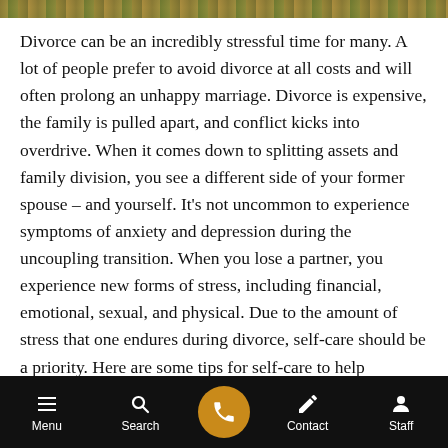[Figure (photo): Top portion of an outdoor/nature photo, partially visible as a strip at the top of the page]
Divorce can be an incredibly stressful time for many. A lot of people prefer to avoid divorce at all costs and will often prolong an unhappy marriage. Divorce is expensive, the family is pulled apart, and conflict kicks into overdrive. When it comes down to splitting assets and family division, you see a different side of your former spouse – and yourself. It's not uncommon to experience symptoms of anxiety and depression during the uncoupling transition. When you lose a partner, you experience new forms of stress, including financial, emotional, sexual, and physical. Due to the amount of stress that one endures during divorce, self-care should be a priority. Here are some tips for self-care to help
Menu  Search  [call button]  Contact  Staff